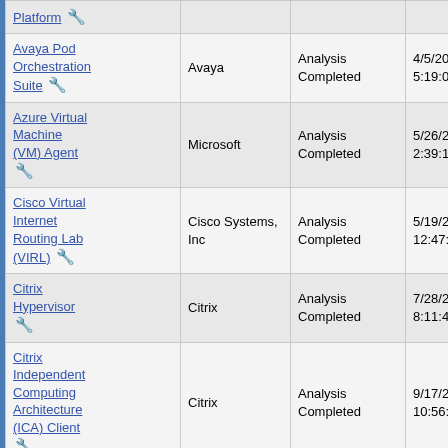| Name | Vendor | Status | Date |
| --- | --- | --- | --- |
| Platform 🔧 |  |  |  |
| Avaya Pod Orchestration Suite 🔧 | Avaya | Analysis Completed | 4/5/2021 5:19:05 PM |
| Azure Virtual Machine (VM) Agent 🔧 | Microsoft | Analysis Completed | 5/26/2022 2:39:13 AM |
| Cisco Virtual Internet Routing Lab (VIRL) 🔧 | Cisco Systems, Inc | Analysis Completed | 5/19/2020 12:47:21 PM |
| Citrix Hypervisor 🔧 | Citrix | Analysis Completed | 7/28/2022 8:11:42 PM |
| Citrix Independent Computing Architecture (ICA) Client 🔧 | Citrix | Analysis Completed | 9/17/2020 10:56:55 AM |
| Citrix Personal vDisk 🔧 | Citrix | Analysis Completed | 10/21/2020 9:20:25 AM |
| Citrix Provisioning ... |  |  |  |